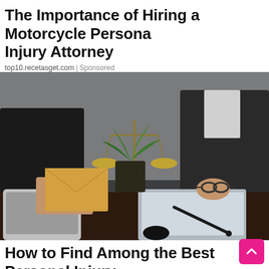The Importance of Hiring a Motorcycle Personal Injury Attorney
top10.recetasget.com | Sponsored
[Figure (photo): Two people in business attire at a desk with a laptop, gold scales of justice, a plant, and a clipboard with a pen. One person holds a manila envelope, the other holds glasses. A legal consultation scene.]
How to Find Among the Best Personal Injury Lawyers